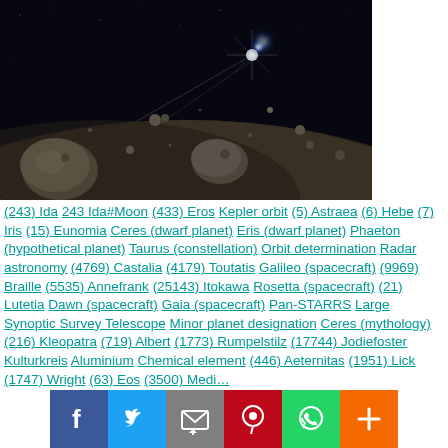[Figure (photo): Space scene showing asteroids floating in a planetary ring with a bright star in the background — artistic rendering of the asteroid belt]
(243) Ida 243 Ida#Moon (433) Eros Kepler orbit (5) Astraea (6) Hebe (7) Iris (15) Eunomia Ceres (dwarf planet) Eris (dwarf planet) Phaeton (hypothetical planet) Taurus (constellation) Orbit determination Radar astronomy (4769) Castalia (4179) Toutatis Galileo (spacecraft) (9969) Braille (5535) Annefrank (25143) Itokawa Rosetta (spacecraft) (21) Lutetia Dawn (spacecraft) Gaia (spacecraft) Pan-STARRS Large Synoptic Survey Telescope Minor planet designation Ceres (mythology) (216) Kleopatra (719) Albert (1773) Rumpelstilz (17744) Jodiefoster Kulturkreis Aluminium Chemical element (446) Aeternitas (1951) Lick (1747) Wright (63) Eos (3500) Medi…